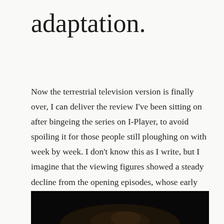adaptation.
Now the terrestrial television version is finally over, I can deliver the review I’ve been sitting on after bingeing the series on I-Player, to avoid spoiling it for those people still ploughing on with week by week. I don’t know this as I write, but I imagine that the viewing figures showed a steady decline from the opening episodes, whose early brilliance, with the promise of much more, became a distant, hard -to- keep- hold -of memory by the end.
[Figure (photo): Dark, low-light photo partially visible at the bottom of the page, showing a dimly lit scene with dark tones.]